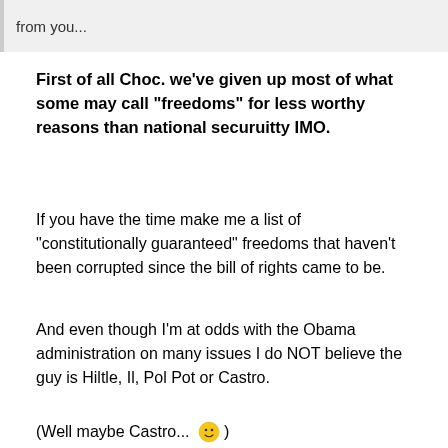from you...
First of all Choc. we've given up most of what some may call "freedoms" for less worthy reasons than national securuitty IMO.
If you have the time make me a list of "constitutionally guaranteed" freedoms that haven't been corrupted since the bill of rights came to be.
And even though I'm at odds with the Obama administration on many issues I do NOT believe the guy is Hiltle, Il, Pol Pot or Castro.
(Well maybe Castro... 😊 )